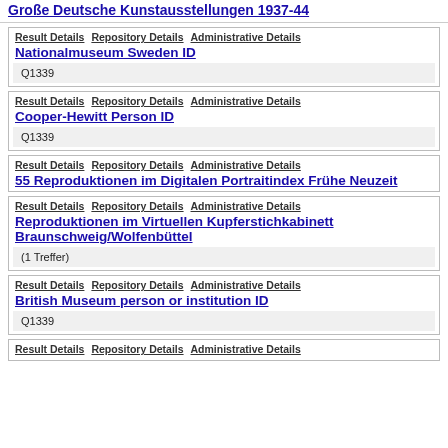Große Deutsche Kunstausstellungen 1937-44
Nationalmuseum Sweden ID | Result Details | Repository Details | Administrative Details | Q1339
Cooper-Hewitt Person ID | Result Details | Repository Details | Administrative Details | Q1339
55 Reproduktionen im Digitalen Portraitindex Frühe Neuzeit | Result Details | Repository Details | Administrative Details
Reproduktionen im Virtuellen Kupferstichkabinett Braunschweig/Wolfenbüttel | Result Details | Repository Details | Administrative Details | (1 Treffer)
British Museum person or institution ID | Result Details | Repository Details | Administrative Details | Q1339
Result Details | Repository Details | Administrative Details (partial)